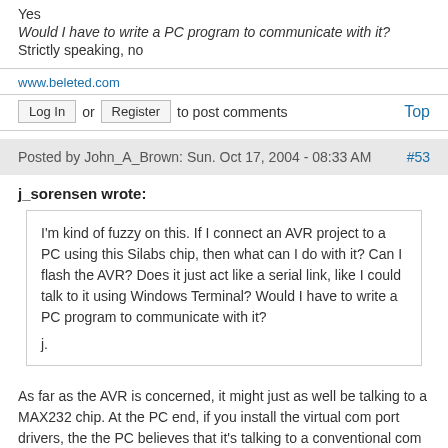Yes
Would I have to write a PC program to communicate with it?
Strictly speaking, no
www.beleted.com
Log In or Register to post comments   Top
Posted by John_A_Brown: Sun. Oct 17, 2004 - 08:33 AM  #53
j_sorensen wrote:
I'm kind of fuzzy on this. If I connect an AVR project to a PC using this Silabs chip, then what can I do with it? Can I flash the AVR? Does it just act like a serial link, like I could talk to it using Windows Terminal? Would I have to write a PC program to communicate with it?
j.
As far as the AVR is concerned, it might just as well be talking to a MAX232 chip. At the PC end, if you install the virtual com port drivers, the the PC believes that it's talking to a conventional com port.
P.S. I'd still like to know if anyone's managed to buy the Silabs part in the UK